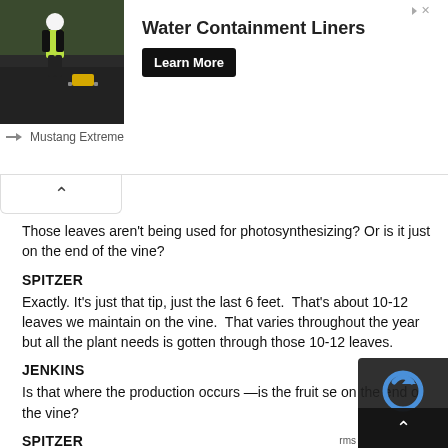[Figure (photo): Advertisement banner: photo of worker in yellow jacket on dark roofing surface, with text 'Water Containment Liners' and 'Learn More' button, branded Mustang Extreme]
Those leaves aren't being used for photosynthesizing? Or is it just on the end of the vine?
SPITZER
Exactly. It's just that tip, just the last 6 feet.  That's about 10-12 leaves we maintain on the vine.  That varies throughout the year but all the plant needs is gotten through those 10-12 leaves.
JENKINS
Is that where the production occurs —is the fruit se on the end of the vine?
SPITZER